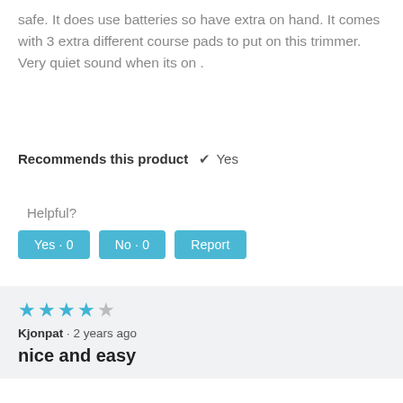safe. It does use batteries so have extra on hand. It comes with 3 extra different course pads to put on this trimmer. Very quiet sound when its on .
Recommends this product ✔ Yes
Helpful?
Yes · 0   No · 0   Report
★★★★☆ Kjonpat · 2 years ago
nice and easy
I received as a sample to try; I liked the shape and easy contour to do a baby's nails. Clipped the right length was comfortable to use showed daughter she likes product as well. Will recommend product to new parents as well as all